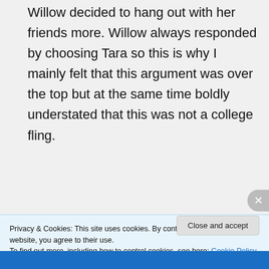Willow decided to hang out with her friends more. Willow always responded by choosing Tara so this is why I mainly felt that this argument was over the top but at the same time boldly understated that this was not a college fling.
↵ Reply
Privacy & Cookies: This site uses cookies. By continuing to use this website, you agree to their use.
To find out more, including how to control cookies, see here: Cookie Policy
Close and accept